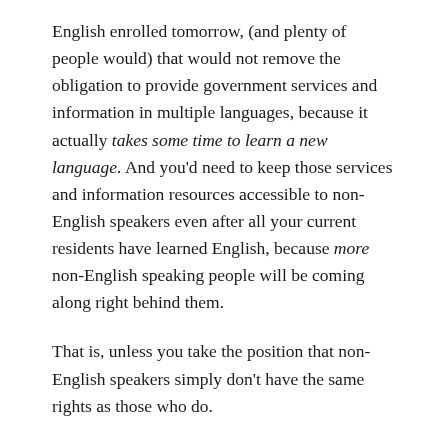English enrolled tomorrow, (and plenty of people would) that would not remove the obligation to provide government services and information in multiple languages, because it actually takes some time to learn a new language. And you'd need to keep those services and information resources accessible to non-English speakers even after all your current residents have learned English, because more non-English speaking people will be coming along right behind them.
That is, unless you take the position that non-English speakers simply don't have the same rights as those who do.
There just isn't any remotely legitimate policy interest behind English-only laws. The government has an obligation to treat people equally and fairly, and not every one of us at any given time speaks and knows how to speak English. I do not want to be...